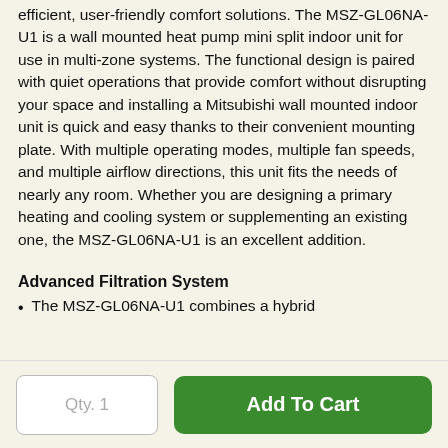efficient, user-friendly comfort solutions. The MSZ-GL06NA-U1 is a wall mounted heat pump mini split indoor unit for use in multi-zone systems. The functional design is paired with quiet operations that provide comfort without disrupting your space and installing a Mitsubishi wall mounted indoor unit is quick and easy thanks to their convenient mounting plate. With multiple operating modes, multiple fan speeds, and multiple airflow directions, this unit fits the needs of nearly any room. Whether you are designing a primary heating and cooling system or supplementing an existing one, the MSZ-GL06NA-U1 is an excellent addition.
Advanced Filtration System
The MSZ-GL06NA-U1 combines a hybrid